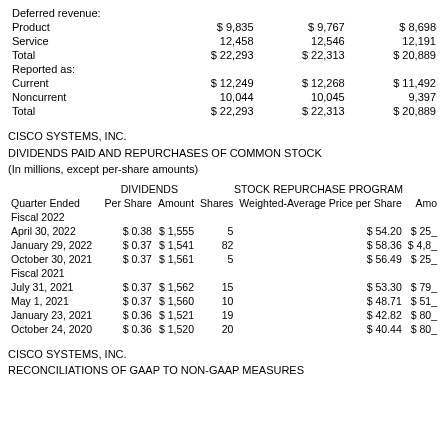|  |  |  |  |
| --- | --- | --- | --- |
| Deferred revenue: |  |  |  |
| Product | $ 9,835 | $ 9,767 | $ 8,698 |
| Service | 12,458 | 12,546 | 12,191 |
| Total | $ 22,293 | $ 22,313 | $ 20,889 |
| Reported as: |  |  |  |
| Current | $ 12,249 | $ 12,268 | $ 11,492 |
| Noncurrent | 10,044 | 10,045 | 9,397 |
| Total | $ 22,293 | $ 22,313 | $ 20,889 |
CISCO SYSTEMS, INC.
DIVIDENDS PAID AND REPURCHASES OF COMMON STOCK
(In millions, except per-share amounts)
| Quarter Ended | Per Share | Amount | Shares | Weighted-Average Price per Share | Amo |
| --- | --- | --- | --- | --- | --- |
| Fiscal 2022 |  |  |  |  |  |
| April 30, 2022 | $ 0.38 | $ 1,555 | 5 | $ 54.20 | $ 25_ |
| January 29, 2022 | $ 0.37 | $ 1,541 | 82 | $ 58.36 | $ 4,8_ |
| October 30, 2021 | $ 0.37 | $ 1,561 | 5 | $ 56.49 | $ 25_ |
| Fiscal 2021 |  |  |  |  |  |
| July 31, 2021 | $ 0.37 | $ 1,562 | 15 | $ 53.30 | $ 79_ |
| May 1, 2021 | $ 0.37 | $ 1,560 | 10 | $ 48.71 | $ 51_ |
| January 23, 2021 | $ 0.36 | $ 1,521 | 19 | $ 42.82 | $ 80_ |
| October 24, 2020 | $ 0.36 | $ 1,520 | 20 | $ 40.44 | $ 80_ |
CISCO SYSTEMS, INC.
RECONCILIATIONS OF GAAP TO NON-GAAP MEASURES